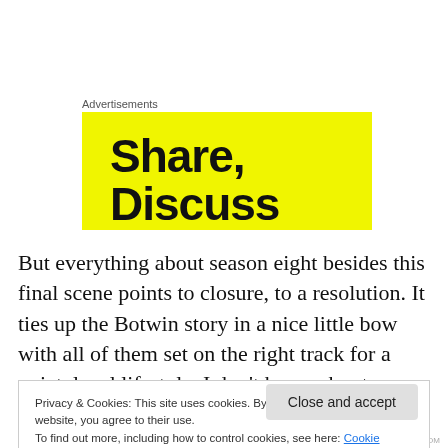Advertisements
[Figure (illustration): Yellow advertisement banner with bold black text reading 'Share, Discuss' (partially cropped)]
But everything about season eight besides this final scene points to closure, to a resolution. It ties up the Botwin story in a nice little bow with all of them set on the right track for a quiet, legal lifestyle. I don't know about you, but this isn't
Privacy & Cookies: This site uses cookies. By continuing to use this website, you agree to their use.
To find out more, including how to control cookies, see here: Cookie Policy
Close and accept